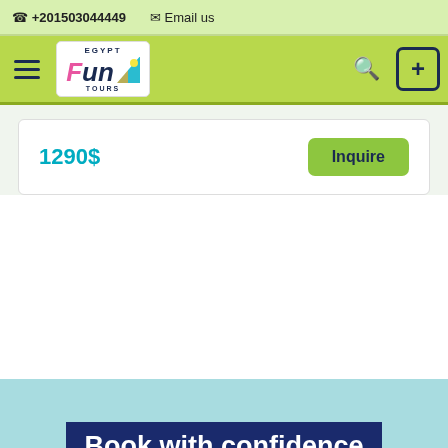+201503044449  Email us
[Figure (logo): Egypt Fun Tours logo with hamburger menu, search icon, and plus button on green nav bar]
1290$
Inquire
Book with confidence